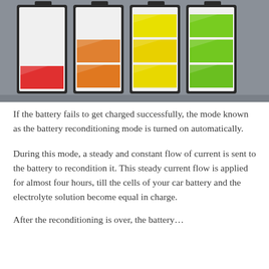[Figure (illustration): Four battery icons showing different charge levels from low (red, ~25%) to medium-low (orange, ~50%) to medium-high (yellow, ~75%) to full (green, ~100%), displayed on a gray background.]
If the battery fails to get charged successfully, the mode known as the battery reconditioning mode is turned on automatically.
During this mode, a steady and constant flow of current is sent to the battery to recondition it. This steady current flow is applied for almost four hours, till the cells of your car battery and the electrolyte solution become equal in charge.
After the reconditioning is over, the battery…